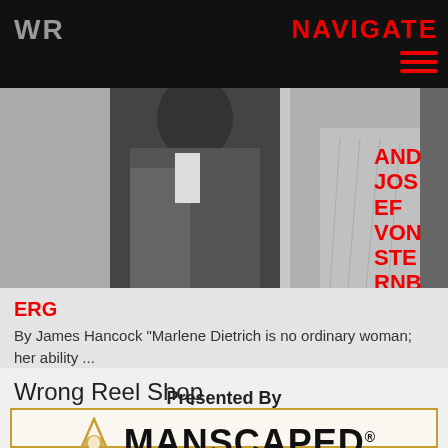WR   NAVIGATE
[Figure (photo): Black and white photograph showing two people in formal attire, cropped at torso level. Red overlaid text on the right side reads: AND JOSEF VON STERNBERG]
ERG
By James Hancock "Marlene Dietrich is no ordinary woman; her ability ...
Wrong Reel Shop
[Figure (logo): Manscaped advertisement box with gold border. Text reads: Presented By, with MANSCAPED logo and stylized icon.]